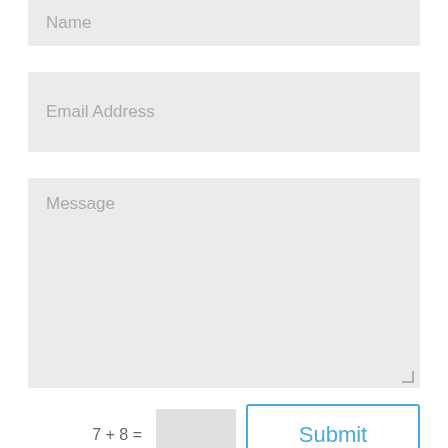Name
Email Address
Message
7 + 8 =
Submit